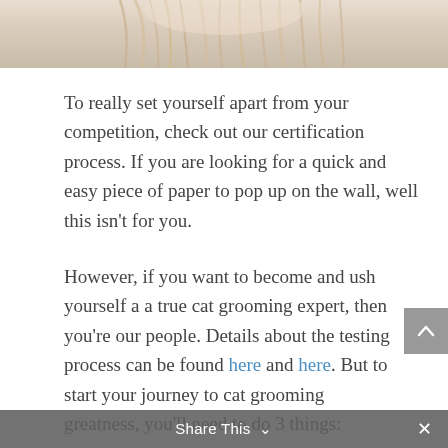[Figure (photo): Cropped photo of a person with long blonde hair, showing top portion of head/hair against a light background]
To really set yourself apart from your competition, check out our certification process. If you are looking for a quick and easy piece of paper to pop up on the wall, well this isn't for you.
However, if you want to become and ush yourself a a true cat grooming expert, then you're our people. Details about the testing process can be found here and here. But to start your journey to cat grooming greatness, you'll need to do 3 things:
Share This ∨  ×